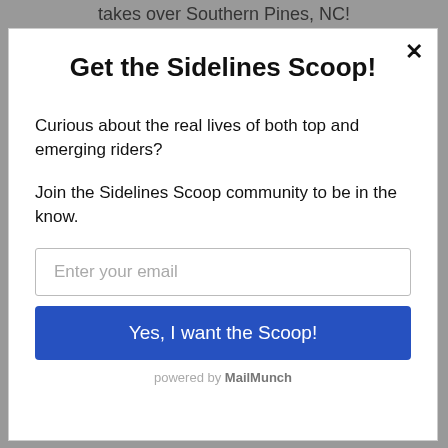takes over Southern Pines, NC!
Get the Sidelines Scoop!
Curious about the real lives of both top and emerging riders?
Join the Sidelines Scoop community to be in the know.
Enter your email
Yes, I want the Scoop!
powered by MailMunch